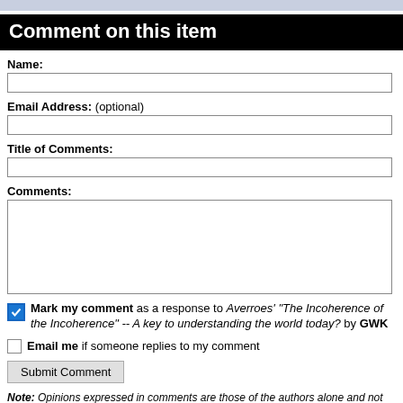Comment on this item
Name:
Email Address: (optional)
Title of Comments:
Comments:
Mark my comment as a response to Averroes' "The Incoherence of the Incoherence" -- A key to understanding the world today? by GWK
Email me if someone replies to my comment
Submit Comment
Note: Opinions expressed in comments are those of the authors alone and not necessarily those of Daniel Pipes. Original writing only, please. Comments are screened and in some cases edited before posting. Reasoned disagreement is